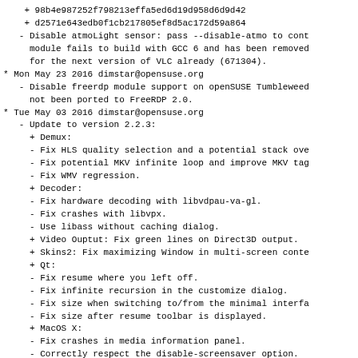+ 98b4e987252f798213effa5ed6d19d958d6d9d42
+ d2571e643edb0f1cb217805ef8d5ac172d59a864
- Disable atmoLight sensor: pass --disable-atmo to cont
  module fails to build with GCC 6 and has been removed
  for the next version of VLC already (671304).
* Mon May 23 2016 dimstar@opensuse.org
- Disable freerdp module support on openSUSE Tumbleweed
  not been ported to FreeRDP 2.0.
* Tue May 03 2016 dimstar@opensuse.org
- Update to version 2.2.3:
+ Demux:
- Fix HLS quality selection and a potential stack ove
- Fix potential MKV infinite loop and improve MKV tag
- Fix WMV regression.
+ Decoder:
- Fix hardware decoding with libvdpau-va-gl.
- Fix crashes with libvpx.
- Use libass without caching dialog.
+ Video Ouptut: Fix green lines on Direct3D output.
+ Skins2: Fix maximizing Window in multi-screen conte
+ Qt:
- Fix resume where you left off.
- Fix infinite recursion in the customize dialog.
- Fix size when switching to/from the minimal interfa
- Fix size after resume toolbar is displayed.
+ MacOS X:
- Fix crashes in media information panel.
- Correctly respect the disable-screensaver option.
+ Win32: Allow opening more than 15 elements in Explo
+ Updated translations.